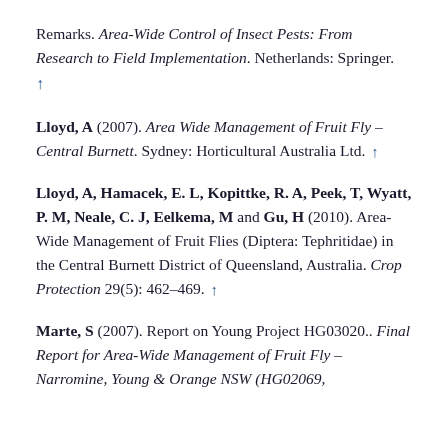Remarks. Area-Wide Control of Insect Pests: From Research to Field Implementation. Netherlands: Springer. ↑
Lloyd, A (2007). Area Wide Management of Fruit Fly – Central Burnett. Sydney: Horticultural Australia Ltd. ↑
Lloyd, A, Hamacek, E. L, Kopittke, R. A, Peek, T, Wyatt, P. M, Neale, C. J, Eelkema, M and Gu, H (2010). Area-Wide Management of Fruit Flies (Diptera: Tephritidae) in the Central Burnett District of Queensland, Australia. Crop Protection 29(5): 462–469. ↑
Marte, S (2007). Report on Young Project HG03020.. Final Report for Area-Wide Management of Fruit Fly – Narromine, Young & Orange NSW (HG02069,